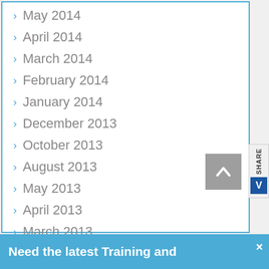May 2014
April 2014
March 2014
February 2014
January 2014
December 2013
October 2013
August 2013
May 2013
April 2013
March 2013
January 2013
Need the latest Training and